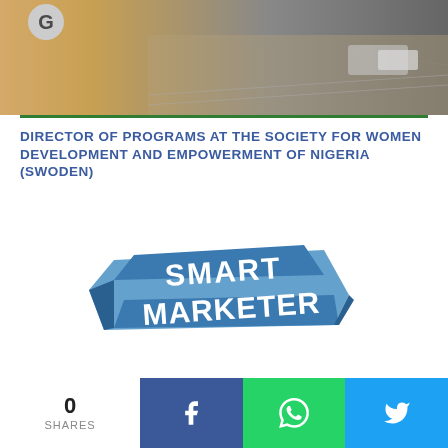[Figure (photo): Hero image showing a blurred road/traffic scene with a G logo in the top-left corner]
DIRECTOR OF PROGRAMS AT THE SOCIETY FOR WOMEN DEVELOPMENT AND EMPOWERMENT OF NIGERIA (SWODEN)
[Figure (logo): Smart Marketer logo — bold blue text on a banner/ribbon design]
MARKETER'S VACANCY AT DOHEEC INTERNATIONAL HEALTHCARE LIMITED
0 SHARES
[Figure (infographic): Social share buttons: Facebook (blue), WhatsApp (green), Twitter (light blue)]